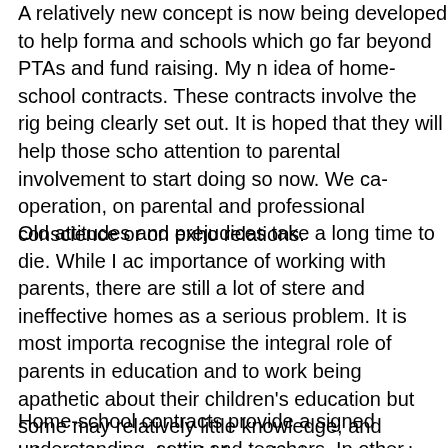A relatively new concept is now being developed to help forma... and schools which go far beyond PTAs and fund raising. My n... idea of home-school contracts. These contracts involve the rig... being clearly set out. It is hoped that they will help those scho... attention to parental involvement to start doing so now. We ca... operation, on parental and professional conscience or on exho... relations.
Old attitudes and prejudices take a long time to die. While I ac... importance of working with parents, there are still a lot of stere... and ineffective homes as a serious problem. It is most importa... recognise the integral role of parents in education and to work ... being apathetic about their children's education but some may... relatively little knowledge, and information is withheld from the... is up to teachers to work with parents to ensure that this does ... building parents' confidence: sadly, sometimes they undermine... environment of children, especially those from less advantage...
Home-school contracts provide a signed understanding, settin... and teachers. In other words, they specify the expectations wh... have about schools and which schools might reasonably have ...